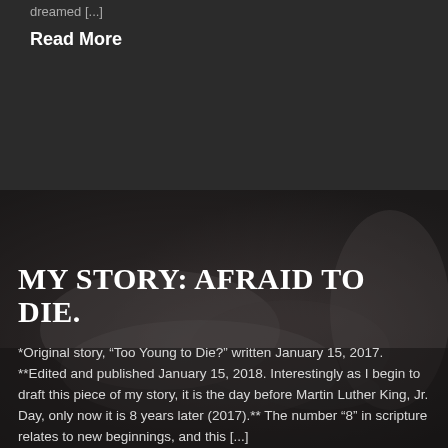dreamed [...]
Read More
[Figure (photo): Dark moody photo of praying hands with rosary beads, black and white tones]
MY STORY: AFRAID TO DIE.
*Original story, “Too Young to Die?” written January 15, 2017. **Edited and published January 15, 2018. Interestingly as I begin to draft this piece of my story, it is the day before Martin Luther King, Jr. Day, only now it is 8 years later (2017).** The number “8” in scripture relates to new beginnings, and this [...]